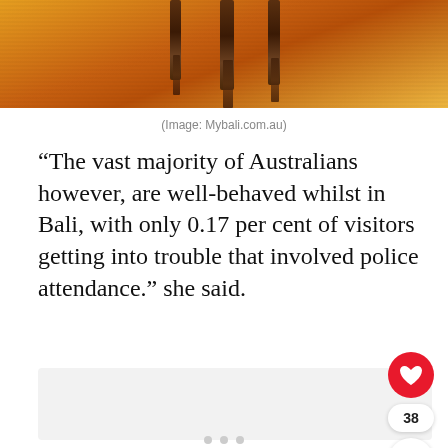[Figure (photo): Photograph of Bali water scene with wooden pillars/posts reflected in golden-orange water at sunset]
(Image: Mybali.com.au)
“The vast majority of Australians however, are well-behaved whilst in Bali, with only 0.17 per cent of visitors getting into trouble that involved police attendance.” she said.
[Figure (other): Embedded content placeholder box with light gray background]